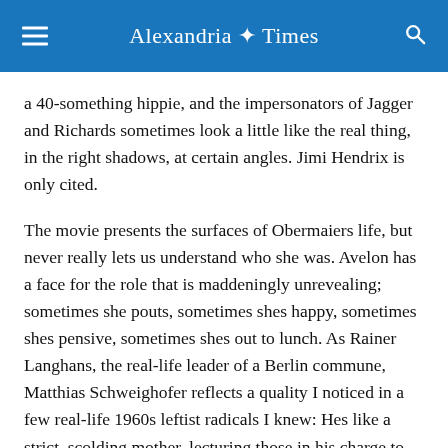Alexandria Times
a 40-something hippie, and the impersonators of Jagger and Richards sometimes look a little like the real thing, in the right shadows, at certain angles. Jimi Hendrix is only cited.
The movie presents the surfaces of Obermaiers life, but never really lets us understand who she was. Avelon has a face for the role that is maddeningly unrevealing; sometimes she pouts, sometimes shes happy, sometimes shes pensive, sometimes shes out to lunch. As Rainer Langhans, the real-life leader of a Berlin commune, Matthias Schweighofer reflects a quality I noticed in a few real-life 1960s leftist radicals I knew: Hes like a strict, scolding mother, lecturing those in his charge to correct their flawed ideas. That he and Uschi are in love is, I think, an ideological decision for both. Hes not comfortable with her celebrity, and shes not happy to